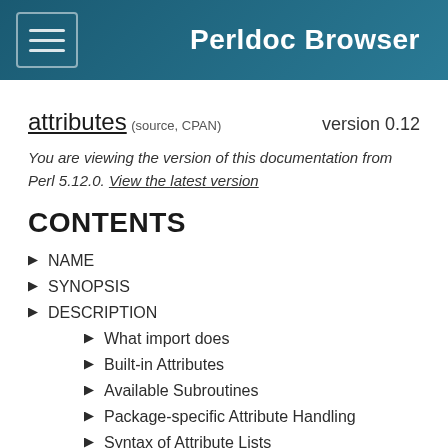Perldoc Browser
attributes (source, CPAN) version 0.12
You are viewing the version of this documentation from Perl 5.12.0. View the latest version
CONTENTS
NAME
SYNOPSIS
DESCRIPTION
What import does
Built-in Attributes
Available Subroutines
Package-specific Attribute Handling
Syntax of Attribute Lists
EXPORTS
Default exports
Available exports